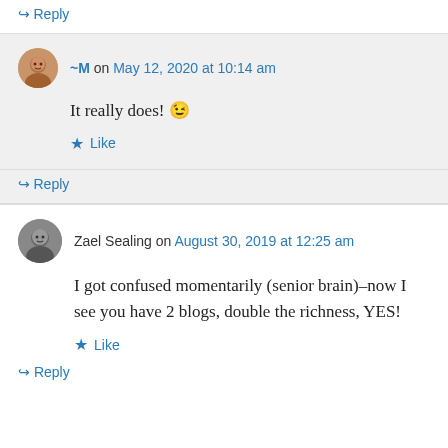↪ Reply
~M on May 12, 2020 at 10:14 am
It really does! 😉
★ Like
↪ Reply
Zael Sealing on August 30, 2019 at 12:25 am
I got confused momentarily (senior brain)–now I see you have 2 blogs, double the richness, YES!
★ Like
↪ Reply